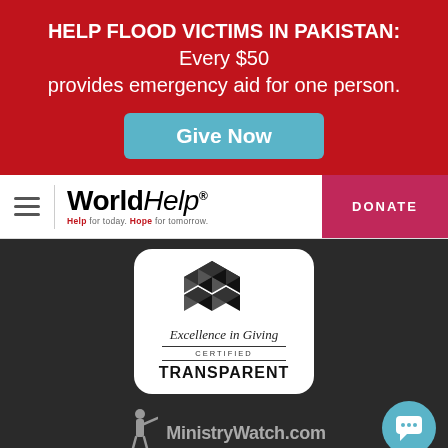HELP FLOOD VICTIMS IN PAKISTAN: Every $50 provides emergency aid for one person.
Give Now
[Figure (logo): World Help logo with tagline: Help for today. Hope for tomorrow.]
DONATE
[Figure (logo): Partially visible circular MEMBER badge]
[Figure (logo): Excellence in Giving Certified Transparent badge with cube icons]
[Figure (logo): MinistryWatch.com logo with figure blowing trumpet]
[Figure (logo): Accord network logo (partially visible)]
[Figure (illustration): Cyan chat bubble button in bottom right corner]